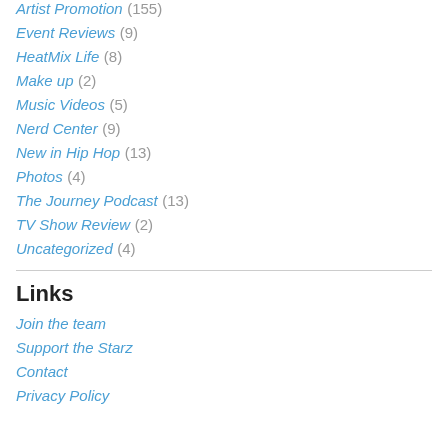Artist Promotion (155)
Event Reviews (9)
HeatMix Life (8)
Make up (2)
Music Videos (5)
Nerd Center (9)
New in Hip Hop (13)
Photos (4)
The Journey Podcast (13)
TV Show Review (2)
Uncategorized (4)
Links
Join the team
Support the Starz
Contact
Privacy Policy